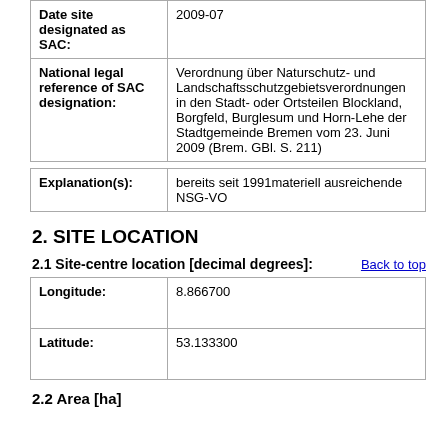| Date site designated as SAC: | 2009-07 |
| National legal reference of SAC designation: | Verordnung über Naturschutz- und Landschaftsschutzgebietsverordnungen in den Stadt- oder Ortsteilen Blockland, Borgfeld, Burglesum und Horn-Lehe der Stadtgemeinde Bremen vom 23. Juni 2009 (Brem. GBl. S. 211) |
| Explanation(s): | bereits seit 1991materiell ausreichende NSG-VO |
2. SITE LOCATION
2.1 Site-centre location [decimal degrees]:
| Longitude: | 8.866700 |
| Latitude: | 53.133300 |
2.2 Area [ha]